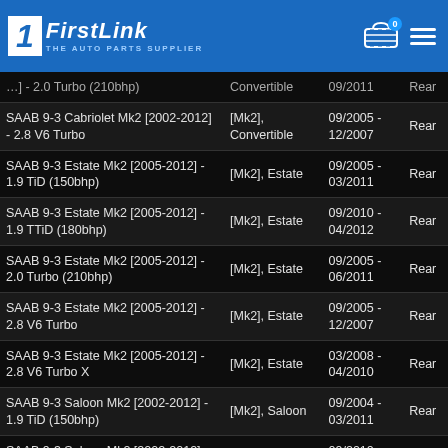FirstLink - The Auto Parts Supplier
| Model | Type | Date Range | Position |
| --- | --- | --- | --- |
| SAAB 9-3 Cabriolet Mk2 [2002-2012] - 2.0 Turbo (210bhp) | Convertible | 09/2011 | Rear |
| SAAB 9-3 Cabriolet Mk2 [2002-2012] - 2.8 V6 Turbo | [Mk2], Convertible | 09/2005 - 12/2007 | Rear |
| SAAB 9-3 Estate Mk2 [2005-2012] - 1.9 TiD (150bhp) | [Mk2], Estate | 09/2005 - 03/2011 | Rear |
| SAAB 9-3 Estate Mk2 [2005-2012] - 1.9 TTiD (180bhp) | [Mk2], Estate | 09/2010 - 04/2012 | Rear |
| SAAB 9-3 Estate Mk2 [2005-2012] - 2.0 Turbo (210bhp) | [Mk2], Estate | 09/2005 - 06/2011 | Rear |
| SAAB 9-3 Estate Mk2 [2005-2012] - 2.8 V6 Turbo | [Mk2], Estate | 09/2005 - 12/2007 | Rear |
| SAAB 9-3 Estate Mk2 [2005-2012] - 2.8 V6 Turbo X | [Mk2], Estate | 03/2008 - 04/2010 | Rear |
| SAAB 9-3 Saloon Mk2 [2002-2012] - 1.9 TiD (150bhp) | [Mk2], Saloon | 09/2004 - 03/2011 | Rear |
| SAAB 9-3 Saloon Mk2 [2002-2012] - 1.9 TTiD (180bhp) | [Mk2], Saloon | 09/2010 - 04/2012 | Rear |
| SAAB 9-3 Saloon Mk2 [2002-2012] - 2.0 Turbo (175bhp) | [Mk2], Saloon | 05/2002 - 04/2010 | Rear |